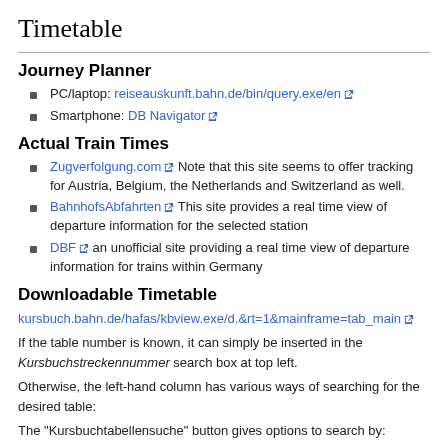Timetable
Journey Planner
PC/laptop: reiseauskunft.bahn.de/bin/query.exe/en
Smartphone: DB Navigator
Actual Train Times
Zugverfolgung.com Note that this site seems to offer tracking for Austria, Belgium, the Netherlands and Switzerland as well.
BahnhofsAbfahrten This site provides a real time view of departure information for the selected station
DBF an unofficial site providing a real time view of departure information for trains within Germany
Downloadable Timetable
kursbuch.bahn.de/hafas/kbview.exe/d.&rt=1&mainframe=tab_main
If the table number is known, it can simply be inserted in the Kursbuchstreckennummer search box at top left.
Otherwise, the left-hand column has various ways of searching for the desired table:
The "Kursbuchtabellensuche" button gives options to search by: